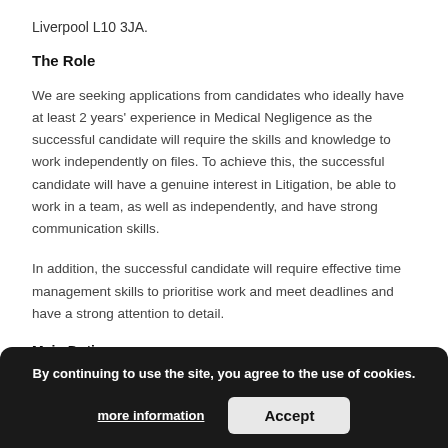Liverpool L10 3JA.
The Role
We are seeking applications from candidates who ideally have at least 2 years' experience in Medical Negligence as the successful candidate will require the skills and knowledge to work independently on files. To achieve this, the successful candidate will have a genuine interest in Litigation, be able to work in a team, as well as independently, and have strong communication skills.
In addition, the successful candidate will require effective time management skills to prioritise work and meet deadlines and have a strong attention to detail.
Main Duties:
1. Performing legal research to assist with case progression
2. Dealing with new enquiries and preparing initial paperwork.